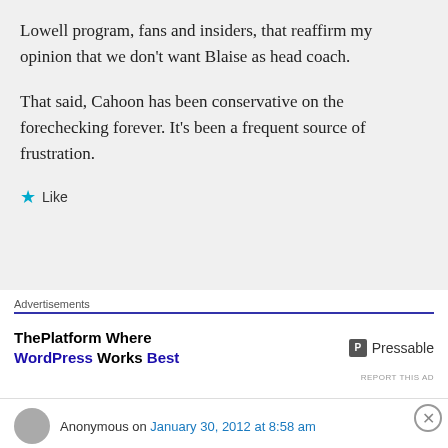Lowell program, fans and insiders, that reaffirm my opinion that we don't want Blaise as head coach.

That said, Cahoon has been conservative on the forechecking forever. It's been a frequent source of frustration.
★ Like
Advertisements
[Figure (screenshot): Advertisement banner: ThePlatform Where WordPress Works Best | Pressable]
REPORT THIS AD
Anonymous on January 30, 2012 at 8:58 am